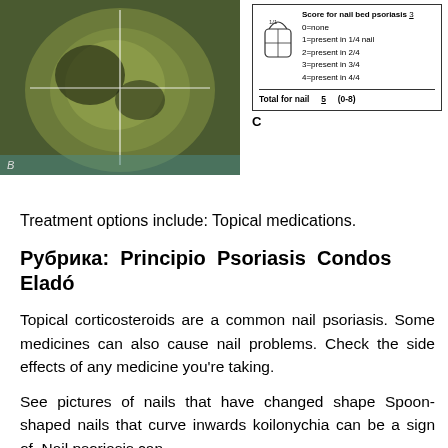[Figure (photo): Close-up photograph of a nail with psoriasis, greenish-brown tones with crosshair overlay, labeled A]
[Figure (schematic): Nail scoring diagram showing nail anatomy with grid overlay and scoring legend. Score for nail bed psoriasis: 3. 0=none, 1=present in 1/4 nail, 2=present in 2/4, 3=present in 3/4, 4=present in 4/4. Total for nail: 5 (0-8). Labeled C.]
Treatment options include: Topical medications.
Рубрика: Principio Psoriasis Condos Eladó
Topical corticosteroids are a common nail psoriasis. Some medicines can also cause nail problems. Check the side effects of any medicine you're taking.
See pictures of nails that have changed shape Spoon-shaped nails that curve inwards koilonychia can be a sign of. Nail psoriasis can